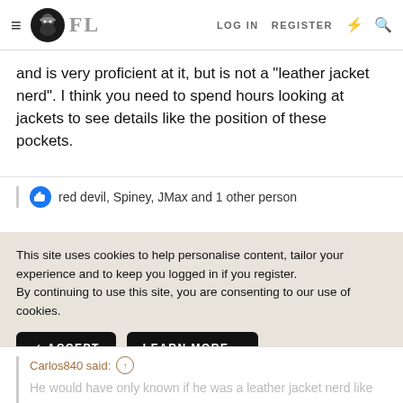FL — LOG IN  REGISTER
and is very proficient at it, but is not a "leather jacket nerd". I think you need to spend hours looking at jackets to see details like the position of these pockets.
red devil, Spiney, JMax and 1 other person
This site uses cookies to help personalise content, tailor your experience and to keep you logged in if you register.
By continuing to use this site, you are consenting to our use of cookies.
✓ ACCEPT   LEARN MORE...
Carlos840 said: ↑
He would have only known if he was a leather jacket nerd like we are.